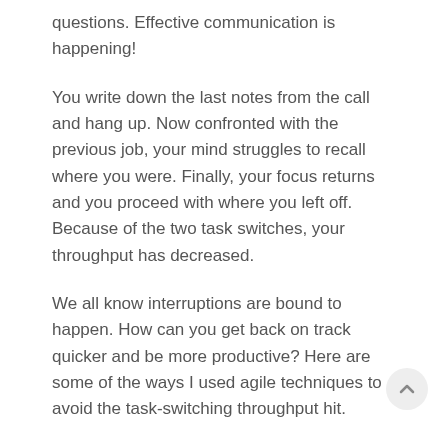questions. Effective communication is happening!
You write down the last notes from the call and hang up. Now confronted with the previous job, your mind struggles to recall where you were. Finally, your focus returns and you proceed with where you left off. Because of the two task switches, your throughput has decreased.
We all know interruptions are bound to happen. How can you get back on track quicker and be more productive? Here are some of the ways I used agile techniques to avoid the task-switching throughput hit.
Agile Techniques to Minimize Productivity Setbacks